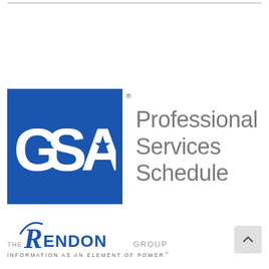[Figure (logo): GSA (General Services Administration) logo: blue square with white 'GSA' lettering and a star in the A, with registered trademark symbol, next to gray text 'Professional Services Schedule']
[Figure (logo): The Rendon Group logo with swoosh R icon and tagline 'INFORMATION AS AN ELEMENT OF POWER']